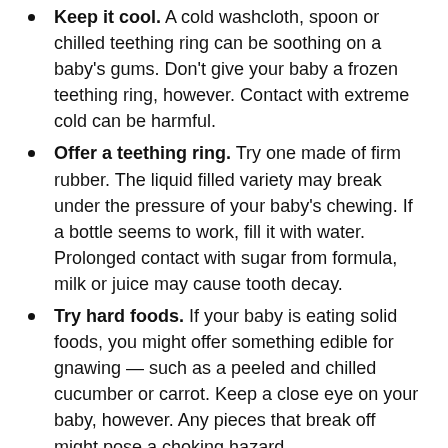Keep it cool. A cold washcloth, spoon or chilled teething ring can be soothing on a baby's gums. Don't give your baby a frozen teething ring, however. Contact with extreme cold can be harmful.
Offer a teething ring. Try one made of firm rubber. The liquid filled variety may break under the pressure of your baby's chewing. If a bottle seems to work, fill it with water. Prolonged contact with sugar from formula, milk or juice may cause tooth decay.
Try hard foods. If your baby is eating solid foods, you might offer something edible for gnawing — such as a peeled and chilled cucumber or carrot. Keep a close eye on your baby, however. Any pieces that break off might pose a choking hazard.
Dry the drool. Excessive drooling is part of the